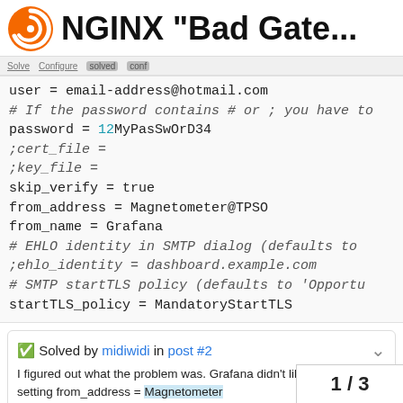NGINX "Bad Gate...
[Figure (logo): Grafana orange spiral logo]
user = email-address@hotmail.com
# If the password contains # or ; you have to
password = 12MyPasSwOrD34
;cert_file =
;key_file =
skip_verify = true
from_address = Magnetometer@TPSO
from_name = Grafana
# EHLO identity in SMTP dialog (defaults to
;ehlo_identity = dashboard.example.com
# SMTP startTLS policy (defaults to 'Opportu
startTLS_policy = MandatoryStartTLS
✅ Solved by midiwidi in post #2
I figured out what the problem was. Grafana didn't like the setting from_address = Magnetometer it to from_address = myactualemailed
1 / 3